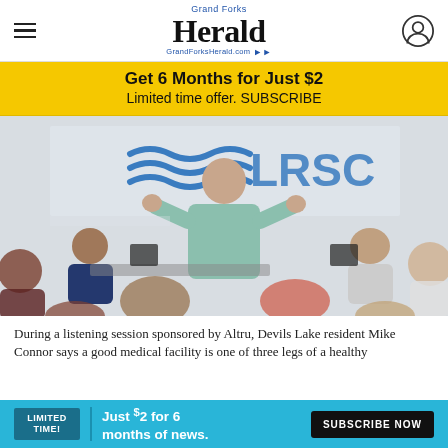Grand Forks Herald — GrandForksHerald.com
Get 6 Months for Just $2
Limited time offer. SUBSCRIBE
[Figure (photo): A man standing and speaking at a listening session inside an LRSC room, with an audience seated facing him.]
During a listening session sponsored by Altru, Devils Lake resident Mike Connor says a good medical facility is one of three legs of a healthy
LIMITED TIME! Just $2 for 6 months of news. SUBSCRIBE NOW